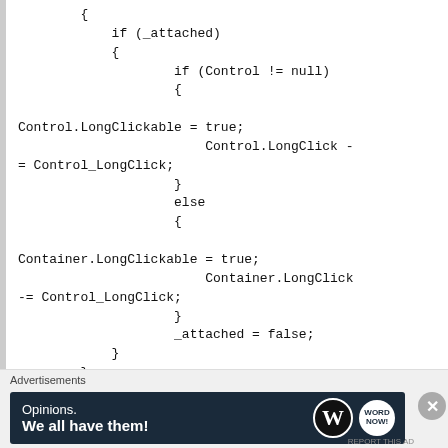{ if (_attached) { if (Control != null) { Control.LongClickable = true; Control.LongClick -= Control_LongClick; } else { Container.LongClickable = true; Container.LongClick -= Control_LongClick; } _attached = false; } } }
Advertisements
[Figure (infographic): WordPress advertisement banner with text 'Opinions. We all have them!' and WordPress logo]